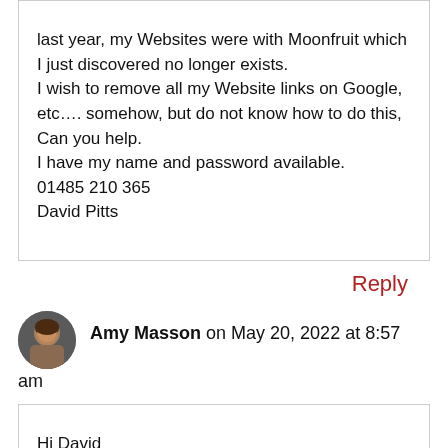last year, my Websites were with Moonfruit which I just discovered no longer exists.
I wish to remove all my Website links on Google, etc…. somehow, but do not know how to do this,
Can you help.
I have my name and password available.
01485 210 365
David Pitts
Reply
Amy Masson on May 20, 2022 at 8:57 am
Hi David